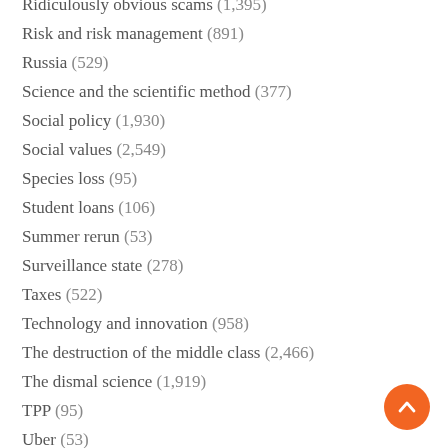Ridiculously obvious scams (1,395)
Risk and risk management (891)
Russia (529)
Science and the scientific method (377)
Social policy (1,930)
Social values (2,549)
Species loss (95)
Student loans (106)
Summer rerun (53)
Surveillance state (278)
Taxes (522)
Technology and innovation (958)
The destruction of the middle class (2,466)
The dismal science (1,919)
TPP (95)
Uber (53)
UK (481)